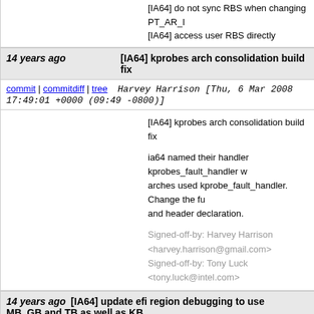[IA64] do not sync RBS when changing PT_AR_...
[IA64] access user RBS directly
14 years ago   [IA64] kprobes arch consolidation build fix
commit | commitdiff | tree   Harvey Harrison [Thu, 6 Mar 2008 17:49:01 +0000 (09:49 -0800)]
[IA64] kprobes arch consolidation build fix

ia64 named their handler kprobes_fault_handler w... arches used kprobe_fault_handler. Change the fu... and header declaration.

Signed-off-by: Harvey Harrison <harvey.harrison@gmail.com>
Signed-off-by: Tony Luck <tony.luck@intel.com>
14 years ago   [IA64] update efi region debugging to use MB, GB and TB as well as KB
commit | commitdiff | tree   Simon Horman [Tue, 26 Feb 2008 06:24:04 +0000 (15:24 +0900)]
[IA64] update efi region debugging to use MB, GB...

When EFI_DEBUG is defined to a non-zero value in arch/ia64/kernel/efi.c, the efi memory regions are displayed. This patch...